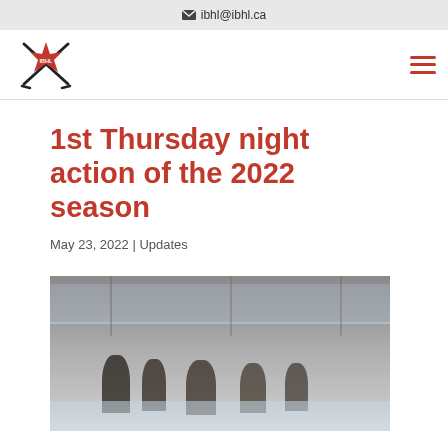ibhl@ibhl.ca
[Figure (logo): IBHL hockey league logo with maple leaf and crossed hockey sticks]
1st Thursday night action of the 2022 season
May 23, 2022 | Updates
[Figure (photo): Hockey players on ice rink, action shot inside an arena]